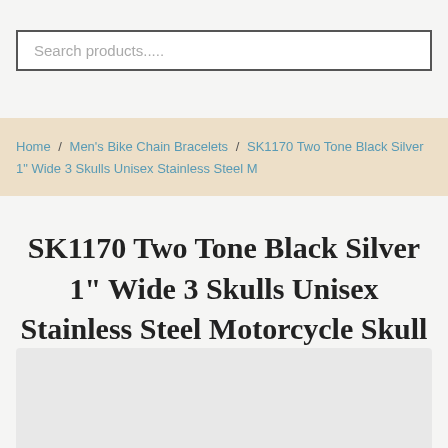Search products.....
Home / Men's Bike Chain Bracelets / SK1170 Two Tone Black Silver 1" Wide 3 Skulls Unisex Stainless Steel M
SK1170 Two Tone Black Silver 1" Wide 3 Skulls Unisex Stainless Steel Motorcycle Skull Chain Bracelet
[Figure (photo): Product image placeholder area at bottom of page]